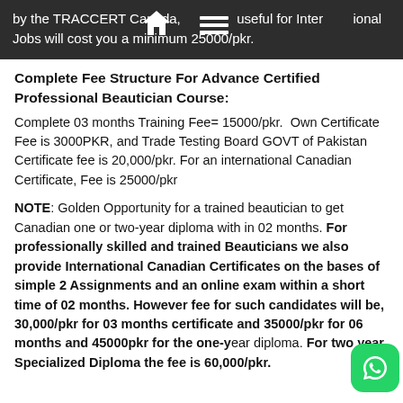by the TRACCERT Canada, useful for International Jobs will cost you a minimum 25000/pkr.
Complete Fee Structure For Advance Certified Professional Beautician Course:
Complete 03 months Training Fee= 15000/pkr.  Own Certificate Fee is 3000PKR, and Trade Testing Board GOVT of Pakistan Certificate fee is 20,000/pkr. For an international Canadian Certificate, Fee is 25000/pkr
NOTE: Golden Opportunity for a trained beautician to get Canadian one or two-year diploma with in 02 months. For professionally skilled and trained Beauticians we also provide International Canadian Certificates on the bases of simple 2 Assignments and an online exam within a short time of 02 months. However fee for such candidates will be, 30,000/pkr for 03 months certificate and 35000/pkr for 06 months and 45000pkr for the one-year diploma. For two year Specialized Diploma the fee is 60,000/pkr.